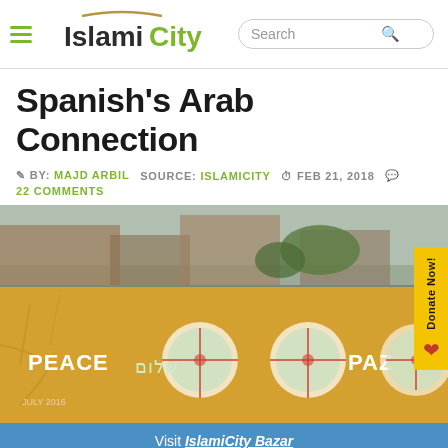IslamiCity — Search
Spanish's Arab Connection
BY: MAJD ARBIL   SOURCE: ISLAMICITY   FEB 21, 2018   22 COMMENTS
[Figure (photo): Yellow painted wall with graffiti reading PEACE, shalom (in Hebrew), and PAZ, each accompanied by circular peace symbol artwork. Building rooftop visible in background.]
Visit IslamiCity Bazar
Your purchase supports our outreach initiative